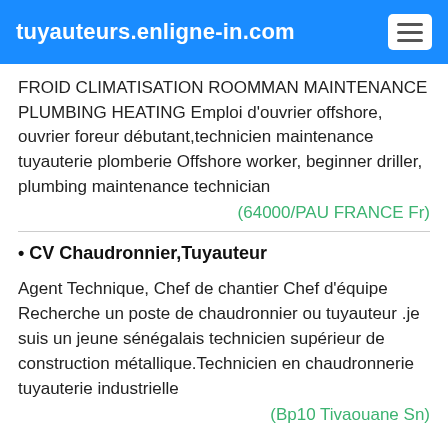tuyauteurs.enligne-in.com
FROID CLIMATISATION ROOMMAN MAINTENANCE PLUMBING HEATING Emploi d'ouvrier offshore, ouvrier foreur débutant,technicien maintenance tuyauterie plomberie Offshore worker, beginner driller, plumbing maintenance technician
(64000/PAU FRANCE Fr)
CV Chaudronnier,Tuyauteur
Agent Technique, Chef de chantier Chef d'équipe Recherche un poste de chaudronnier ou tuyauteur .je suis un jeune sénégalais technicien supérieur de construction métallique.Technicien en chaudronnerie tuyauterie industrielle
(Bp10 Tivaouane Sn)